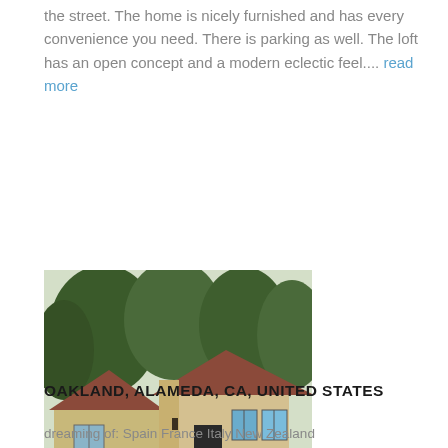the street. The home is nicely furnished and has every convenience you need. There is parking as well. The loft has an open concept and a modern eclectic feel.... read more
[Figure (photo): Exterior photo of a single-story residential home with a brown/terracotta tiled roof, beige/tan walls, a small deck with stairs, a car partially visible in a carport below, surrounded by green bushes and tall trees in the background.]
OAKLAND, ALAMEDA, CA, UNITED STATES
dreaming of: Spain France Italy New Zealand